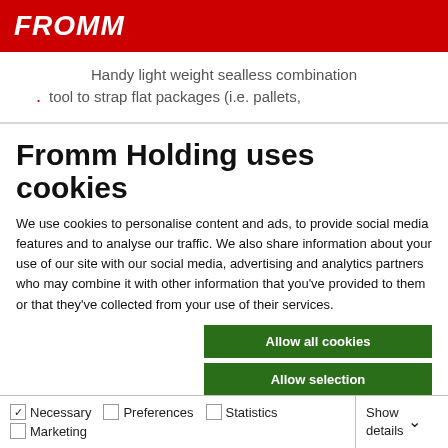FROMM
Handy light weight sealless combination
tool to strap flat packages (i.e. pallets,
Fromm Holding uses cookies
We use cookies to personalise content and ads, to provide social media features and to analyse our traffic. We also share information about your use of our site with our social media, advertising and analytics partners who may combine it with other information that you've provided to them or that they've collected from your use of their services.
Allow all cookies
Allow selection
Use necessary cookies only
Necessary  Preferences  Statistics  Marketing  Show details